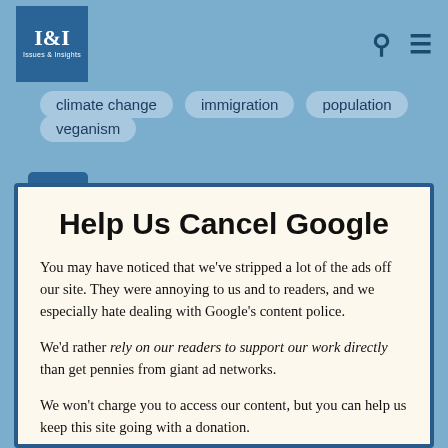I&I Issues & Insights
climate change
immigration
population
veganism
Help Us Cancel Google
You may have noticed that we've stripped a lot of the ads off our site. They were annoying to us and to readers, and we especially hate dealing with Google's content police.
We'd rather rely on our readers to support our work directly than get pennies from giant ad networks.
We won't charge you to access our content, but you can help us keep this site going with a donation.